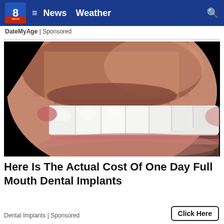News  Weather
DateMyAge | Sponsored
[Figure (photo): Close-up of a man's mouth showing white dental implants/veneers with a beard/stubble]
Here Is The Actual Cost Of One Day Full Mouth Dental Implants
Dental Implants | Sponsored
Click Here